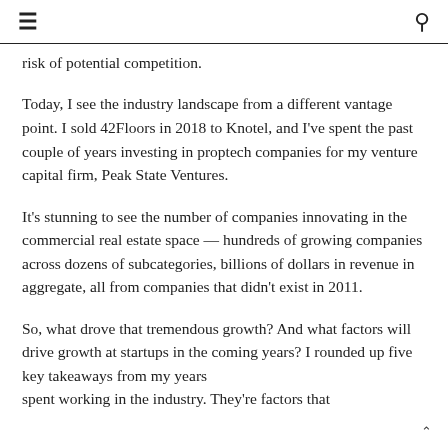≡  🔍
risk of potential competition.
Today, I see the industry landscape from a different vantage point. I sold 42Floors in 2018 to Knotel, and I've spent the past couple of years investing in proptech companies for my venture capital firm, Peak State Ventures.
It's stunning to see the number of companies innovating in the commercial real estate space — hundreds of growing companies across dozens of subcategories, billions of dollars in revenue in aggregate, all from companies that didn't exist in 2011.
So, what drove that tremendous growth? And what factors will drive growth at startups in the coming years? I rounded up five key takeaways from my years spent working in the industry. They're factors that